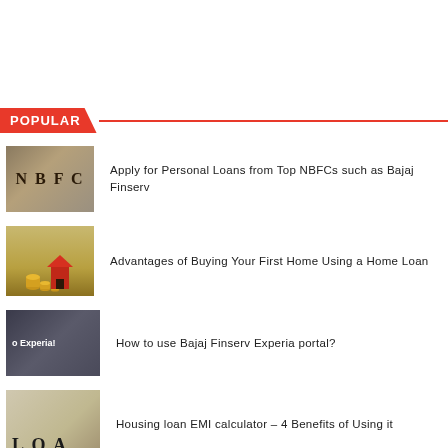POPULAR
Apply for Personal Loans from Top NBFCs such as Bajaj Finserv
Advantages of Buying Your First Home Using a Home Loan
How to use Bajaj Finserv Experia portal?
Housing loan EMI calculator – 4 Benefits of Using it